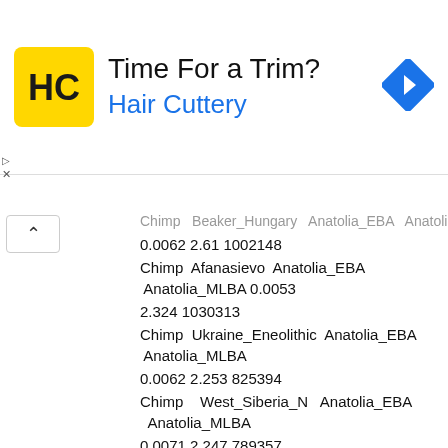[Figure (other): Hair Cuttery advertisement banner with logo, text 'Time For a Trim?' and 'Hair Cuttery', and a navigation arrow icon]
Chimp Beaker_Hungary Anatolia_EBA Anatolia_MLBA 0.0062 2.61 1002148
Chimp Afanasievo Anatolia_EBA Anatolia_MLBA 0.0053 2.324 1030313
Chimp Ukraine_Eneolithic Anatolia_EBA Anatolia_MLBA 0.0062 2.253 825394
Chimp West_Siberia_N Anatolia_EBA Anatolia_MLBA 0.0071 2.247 789357
Chimp Yamnaya_Kalmykia Anatolia_EBA Anatolia_MLBA 0.0057 2.226 1006975
Chimp Sintashta_MLBA Anatolia_EBA Anatolia_MLBA 0.0049 2.207 1036540
Chimp Balkans_ChL Anatolia_EBA Anatolia_MLBA 0.0052 2.173 985747
Chimp Iron_Gates_HG Anatolia_EBA Anatolia_MLBA 0.0055 2.168 1048078
Chimp Armenia_ChL Anatolia_EBA Anatolia_MLBA 0.0055 2.136 950940